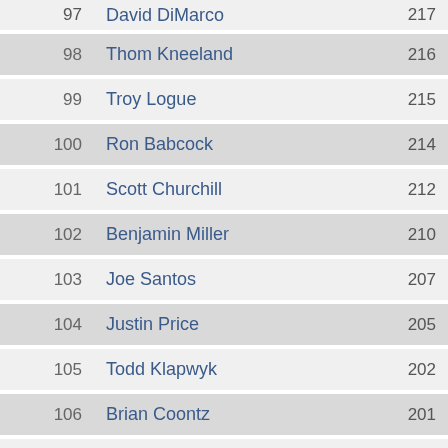| Rank | Name | Score |
| --- | --- | --- |
| 97 | David DiMarco | 217 |
| 98 | Thom Kneeland | 216 |
| 99 | Troy Logue | 215 |
| 100 | Ron Babcock | 214 |
| 101 | Scott Churchill | 212 |
| 102 | Benjamin Miller | 210 |
| 103 | Joe Santos | 207 |
| 104 | Justin Price | 205 |
| 105 | Todd Klapwyk | 202 |
| 106 | Brian Coontz | 201 |
| 107 | Brian Foresta | 200 |
| 108 | Tj Paskewich | 196 |